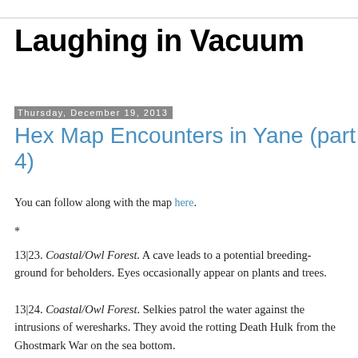Laughing in Vacuum
Thursday, December 19, 2013
Hex Map Encounters in Yane (part 4)
You can follow along with the map here.
*
13|23. Coastal/Owl Forest. A cave leads to a potential breeding-ground for beholders. Eyes occasionally appear on plants and trees.
13|24. Coastal/Owl Forest. Selkies patrol the water against the intrusions of weresharks. They avoid the rotting Death Hulk from the Ghostmark War on the sea bottom.